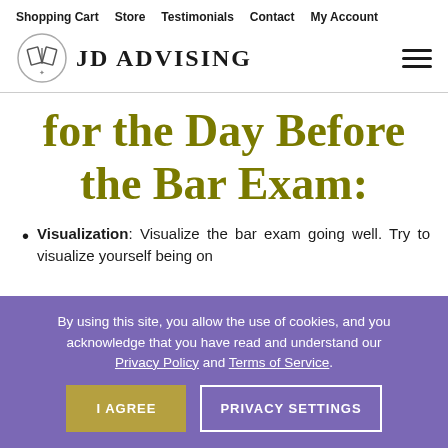Shopping Cart  Store  Testimonials  Contact  My Account
[Figure (logo): JD Advising logo with open book icon and text 'JD ADVISING']
for the Day Before the Bar Exam:
Visualization: Visualize the bar exam going well. Try to visualize yourself being on
By using this site, you allow the use of cookies, and you acknowledge that you have read and understand our Privacy Policy and Terms of Service.